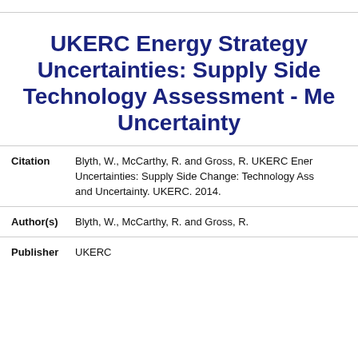UKERC Energy Strategy Uncertainties: Supply Side Technology Assessment - Me Uncertainty
Citation: Blyth, W., McCarthy, R. and Gross, R. UKERC Energy Uncertainties: Supply Side Change: Technology Ass and Uncertainty. UKERC. 2014.
Author(s): Blyth, W., McCarthy, R. and Gross, R.
Publisher: UKERC